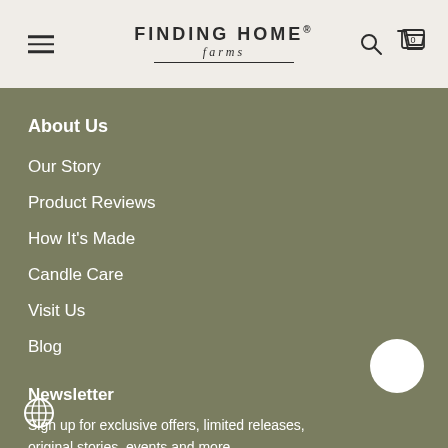Finding Home Farms
About Us
Our Story
Product Reviews
How It's Made
Candle Care
Visit Us
Blog
Newsletter
Sign up for exclusive offers, limited releases, original stories, events and more.